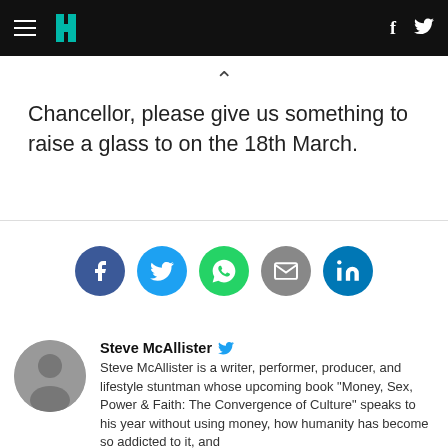HuffPost navigation with hamburger menu, logo, Facebook and Twitter icons
Chancellor, please give us something to raise a glass to on the 18th March.
[Figure (infographic): Social sharing icons row: Facebook (blue), Twitter (light blue), WhatsApp (green), Email (grey), LinkedIn (teal)]
Steve McAllister Steve McAllister is a writer, performer, producer, and lifestyle stuntman whose upcoming book "Money, Sex, Power & Faith: The Convergence of Culture" speaks to his year without using money, how humanity has become so addicted to it, and